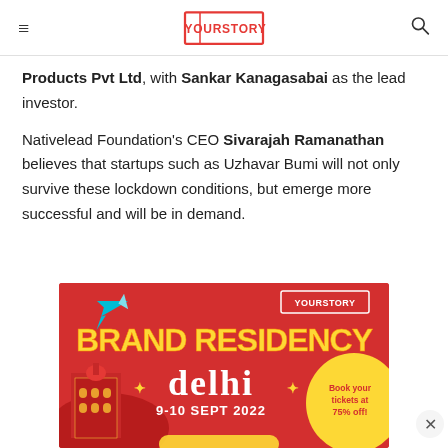YourStory
Products Pvt Ltd, with Sankar Kanagasabai as the lead investor.
Nativelead Foundation's CEO Sivarajah Ramanathan believes that startups such as Uzhavar Bumi will not only survive these lockdown conditions, but emerge more successful and will be in demand.
[Figure (illustration): YourStory Brand Residency advertisement banner. Red background with colorful text reading 'BRAND RESIDENCY' in yellow with rainbow gradient and 'delhi' in white stylized font. Shows '9-10 SEPT 2022' and 'Book your tickets at 75% off!' text. Features a YourStory logo, airplane graphic, and Delhi monument illustration. Yellow circular bubble on right side.]